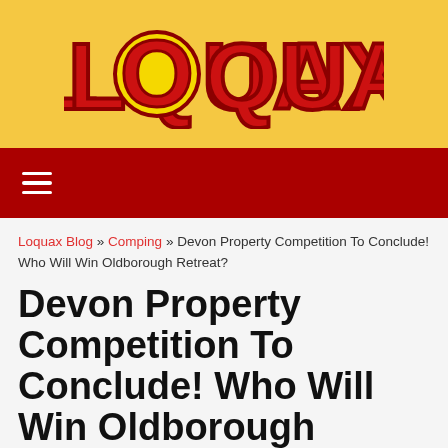[Figure (logo): Loquax logo — bold red text on yellow background with the letter O styled as a yellow circle with dark red border]
Navigation bar with hamburger menu icon
Loquax Blog » Comping » Devon Property Competition To Conclude! Who Will Win Oldborough Retreat?
Devon Property Competition To Conclude! Who Will Win Oldborough Retreat?